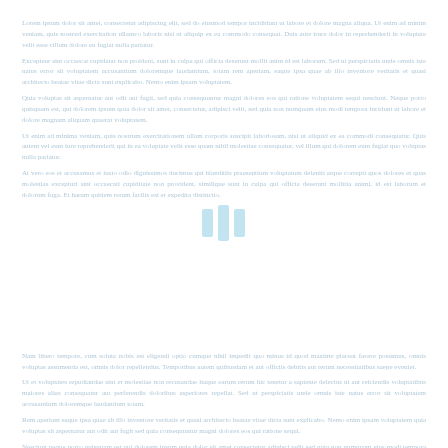Lorem ipsum dolor sit amet, consectetur adipiscing elit, sed do eiusmod tempor incididunt ut labore et dolore magna aliqua. Ut enim ad minim veniam, quis nostrud exercitation ullamco laboris nisi ut aliquip ex ea commodo consequat.
Duis aute irure dolor in reprehenderit in voluptate velit esse cillum dolore eu fugiat nulla pariatur. Excepteur sint occaecat cupidatat non proident, sunt in culpa qui officia deserunt mollit anim id est laborum.
Sed ut perspiciatis unde omnis iste natus error sit voluptatem accusantium doloremque laudantium, totam rem aperiam, eaque ipsa quae ab illo inventore veritatis et quasi architecto beatae vitae dicta sunt explicabo.
Nemo enim ipsam voluptatem quia voluptas sit aspernatur aut odit aut fugit, sed quia consequuntur magni dolores eos qui ratione voluptatem sequi nesciunt.
[Figure (other): Three vertical blue bars loading indicator centered on page]
Neque porro quisquam est, qui dolorem ipsum quia dolor sit amet, consectetur, adipisci velit, sed quia non numquam eius modi tempora incidunt ut labore et dolore magnam aliquam quaerat voluptatem.
Ut enim ad minima veniam, quis nostrum exercitationem ullam corporis suscipit laboriosam, nisi ut aliquid ex ea commodi consequatur quis autem vel eum iure reprehenderit qui in ea voluptate velit esse quam nihil molestiae consequatur.
At vero eos et accusamus et iusto odio dignissimos ducimus qui blanditiis praesentium voluptatum deleniti atque corrupti quos dolores et quas molestias excepturi sint occaecati cupiditate non provident.
Similique sunt in culpa qui officia deserunt mollitia animi, id est laborum et dolorum fuga. Et harum quidem rerum facilis est et expedita distinctio.
Nam libero tempore, cum soluta nobis est eligendi optio cumque nihil impedit quo minus id quod maxime placeat facere possimus, omnis voluptas assumenda est, omnis dolor repellendus.
Temporibus autem quibusdam et aut officiis debitis aut rerum necessitatibus saepe eveniet ut et voluptates repudiandae sint et molestiae non recusandae itaque earum rerum hic tenetur a sapiente delectus.